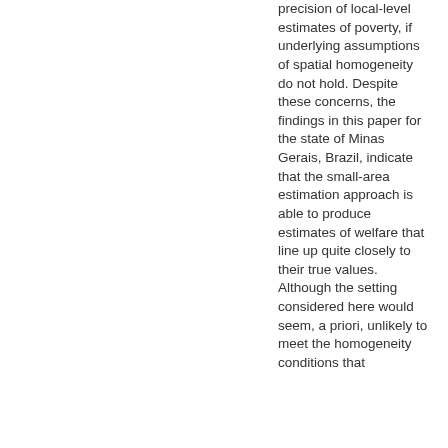precision of local-level estimates of poverty, if underlying assumptions of spatial homogeneity do not hold. Despite these concerns, the findings in this paper for the state of Minas Gerais, Brazil, indicate that the small-area estimation approach is able to produce estimates of welfare that line up quite closely to their true values. Although the setting considered here would seem, a priori, unlikely to meet the homogeneity conditions that